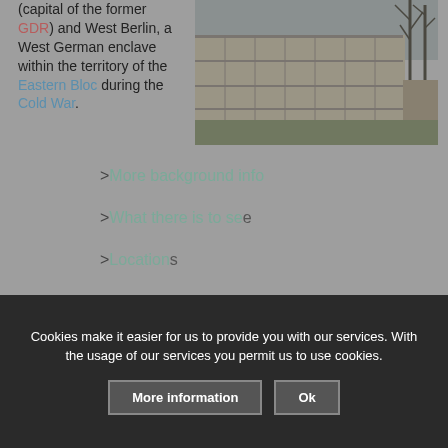(capital of the former GDR) and West Berlin, a West German enclave within the territory of the Eastern Bloc during the Cold War.
[Figure (photo): Photo of the Berlin Wall — a long concrete wall with bare trees visible beyond it, overcast sky]
>More background info
>What there is to see
>Locations
Cookies make it easier for us to provide you with our services. With the usage of our services you permit us to use cookies.
More information  Ok